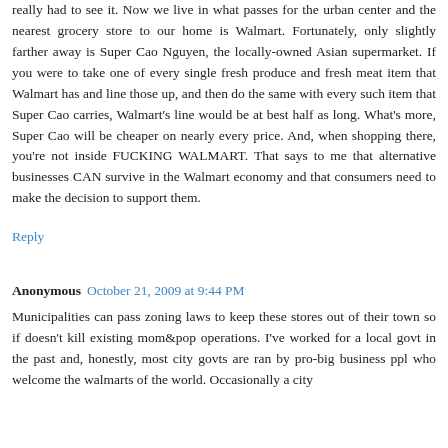really had to see it. Now we live in what passes for the urban center and the nearest grocery store to our home is Walmart. Fortunately, only slightly farther away is Super Cao Nguyen, the locally-owned Asian supermarket. If you were to take one of every single fresh produce and fresh meat item that Walmart has and line those up, and then do the same with every such item that Super Cao carries, Walmart's line would be at best half as long. What's more, Super Cao will be cheaper on nearly every price. And, when shopping there, you're not inside FUCKING WALMART. That says to me that alternative businesses CAN survive in the Walmart economy and that consumers need to make the decision to support them.
Reply
Anonymous October 21, 2009 at 9:44 PM
Municipalities can pass zoning laws to keep these stores out of their town so if doesn't kill existing mom&pop operations. I've worked for a local govt in the past and, honestly, most city govts are ran by pro-big business ppl who welcome the walmarts of the world. Occasionally a city